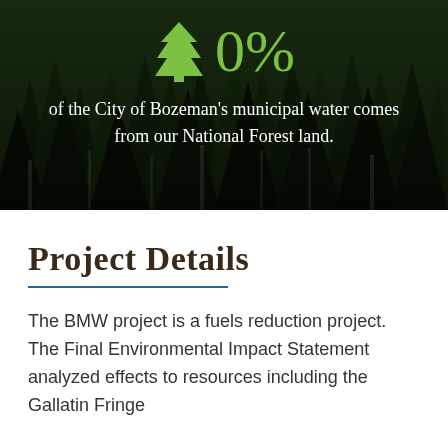[Figure (photo): Forest background photo with dark conifer trees, overlaid with a green tree icon and '0%' text in green, and white body text below stating 'of the City of Bozeman's municipal water comes from our National Forest land.']
Project Details
The BMW project is a fuels reduction project. The Final Environmental Impact Statement analyzed effects to resources including the Gallatin Fringe